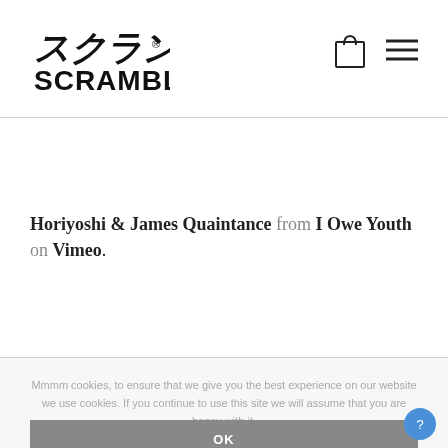Scramble logo with shopping bag and menu icons
Horiyoshi & James Quaintance from I Owe Youth on Vimeo.
Mmmm cookies, to ensure that we give you the best experience on our website we use cookies. If you continue to use this site we will assume that you are happy with it.
OK